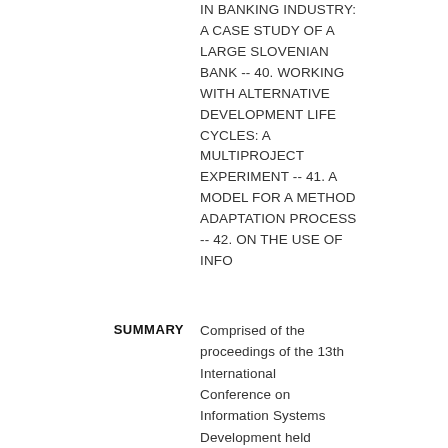IN BANKING INDUSTRY: A CASE STUDY OF A LARGE SLOVENIAN BANK -- 40. WORKING WITH ALTERNATIVE DEVELOPMENT LIFE CYCLES: A MULTIPROJECT EXPERIMENT -- 41. A MODEL FOR A METHOD ADAPTATION PROCESS -- 42. ON THE USE OF INFO
SUMMARY
Comprised of the proceedings of the 13th International Conference on Information Systems Development held August 26th-28th, 2004